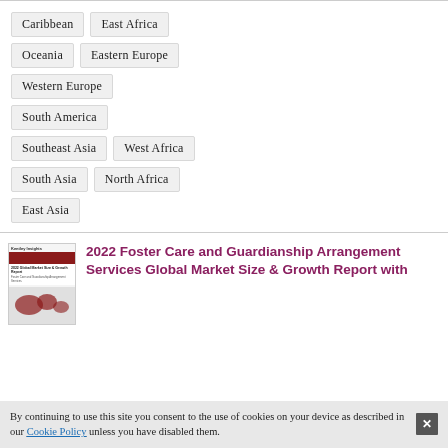Caribbean
East Africa
Oceania
Eastern Europe
Western Europe
South America
Southeast Asia
West Africa
South Asia
North Africa
East Asia
[Figure (photo): Thumbnail of Kentley Insights report cover with red world map]
2022 Foster Care and Guardianship Arrangement Services Global Market Size & Growth Report with
By continuing to use this site you consent to the use of cookies on your device as described in our Cookie Policy unless you have disabled them.